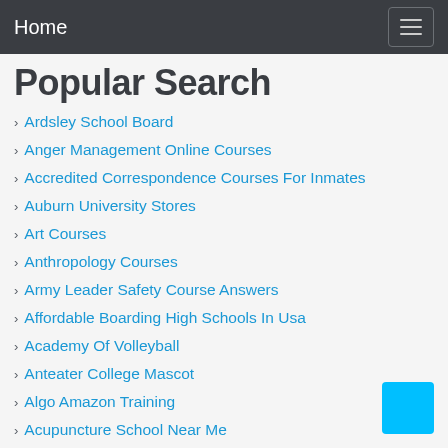Home
Popular Search
Ardsley School Board
Anger Management Online Courses
Accredited Correspondence Courses For Inmates
Auburn University Stores
Art Courses
Anthropology Courses
Army Leader Safety Course Answers
Affordable Boarding High Schools In Usa
Academy Of Volleyball
Anteater College Mascot
Algo Amazon Training
Acupuncture School Near Me